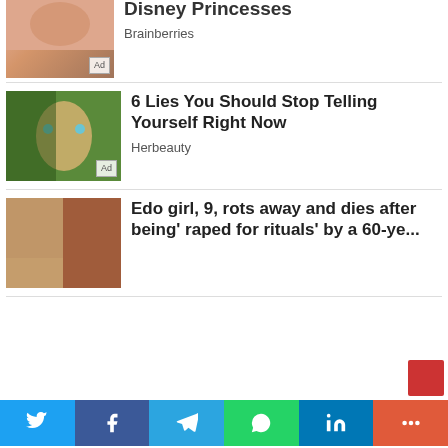[Figure (photo): Partial top article with Disney Princesses thumbnail and 'Ad' badge]
Disney Princesses
Brainberries
[Figure (photo): Image of man with half face showing tree/creature overlay with blue eyes, Ad badge]
6 Lies You Should Stop Telling Yourself Right Now
Herbeauty
[Figure (photo): Two-panel image showing skin conditions]
Edo girl, 9, rots away and dies after being' raped for rituals' by a 60-ye...
Twitter Facebook Telegram WhatsApp LinkedIn More